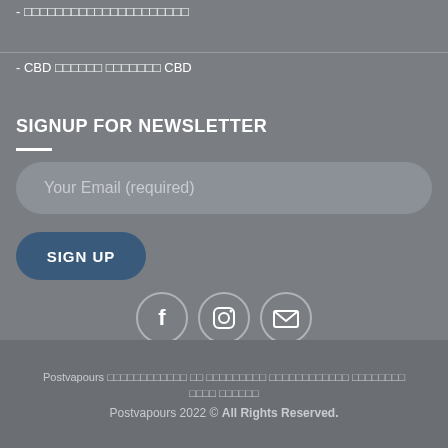- ▯▯▯▯▯▯▯▯▯▯▯▯▯▯▯▯▯▯▯▯▯
- CBD ▯▯▯▯▯▯ ▯▯▯▯▯▯▯ CBD
SIGNUP FOR NEWSLETTER
[Figure (other): Email input field with placeholder text 'Your Email (required)' and a SIGN UP button, followed by social media icons for Facebook, Instagram, and Email]
Postvapours ▯▯▯▯▯▯▯▯▯▯▯▯ ▯▯ ▯▯▯▯▯▯▯▯▯ ▯▯▯▯▯▯▯▯▯▯▯▯ ▯▯▯▯▯▯▯▯ ▯▯▯▯ ▯▯▯▯▯▯
Postvapours 2022 © All Rights Reserved.